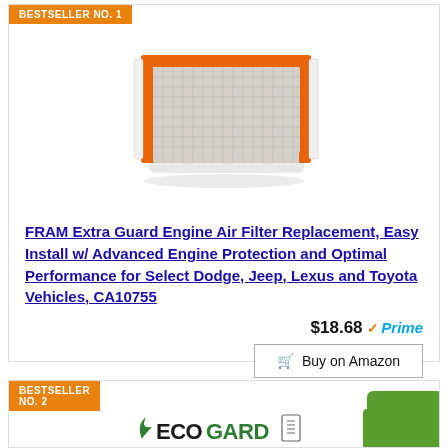BESTSELLER NO. 1
[Figure (photo): Product photo of a FRAM Extra Guard engine air filter with orange border frame on white background]
FRAM Extra Guard Engine Air Filter Replacement, Easy Install w/ Advanced Engine Protection and Optimal Performance for Select Dodge, Jeep, Lexus and Toyota Vehicles, CA10755
$18.68 Prime
Buy on Amazon
BESTSELLER NO. 2
[Figure (logo): ECOGARD logo partially visible at bottom]